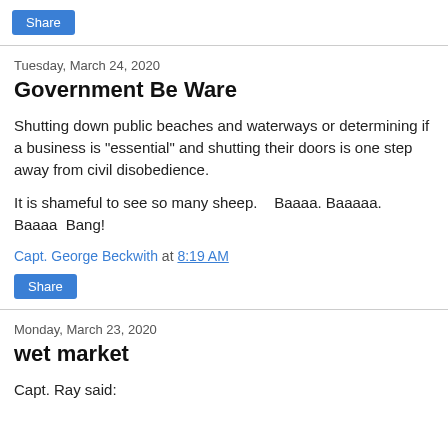Share
Tuesday, March 24, 2020
Government Be Ware
Shutting down public beaches and waterways or determining if a business is "essential" and shutting their doors is one step away from civil disobedience.
It is shameful to see so many sheep.    Baaaa. Baaaaa. Baaaa  Bang!
Capt. George Beckwith at 8:19 AM
Share
Monday, March 23, 2020
wet market
Capt. Ray said: